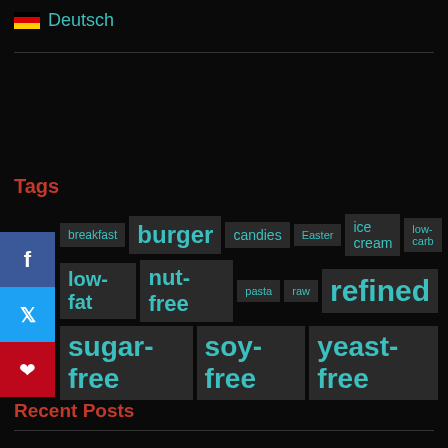🇩🇪 Deutsch
Tags
breakfast  burger  candies  Easter  ice cream  low-carb  low-fat  nut-free  pasta  raw  refined  sugar-free  soy-free  yeast-free
Recent Posts
Boston Cream Pie
Chocolate Covered Peanuts